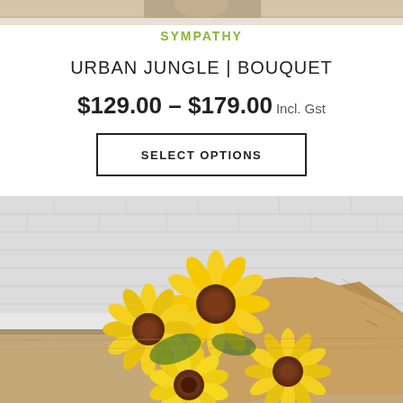[Figure (photo): Top portion of a floral product image — partial view cut off at top]
SYMPATHY
URBAN JUNGLE | BOUQUET
$129.00 – $179.00 Incl. Gst
SELECT OPTIONS
[Figure (photo): Sunflower bouquet wrapped in kraft paper and burlap, placed on a wooden surface with a white brick wall background]